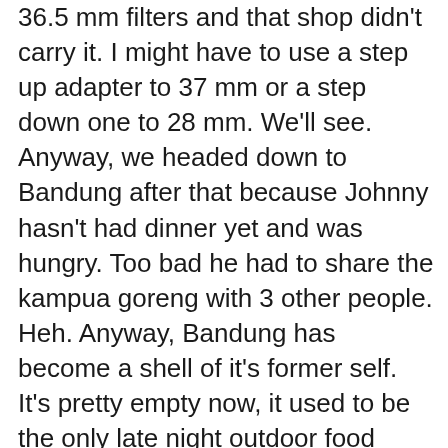36.5 mm filters and that shop didn't carry it. I might have to use a step up adapter to 37 mm or a step down one to 28 mm. We'll see. Anyway, we headed down to Bandung after that because Johnny hasn't had dinner yet and was hungry. Too bad he had to share the kampua goreng with 3 other people. Heh. Anyway, Bandung has become a shell of it's former self. It's pretty empty now, it used to be the only late night outdoor food court, but now there is the more popular Taman Selera and also the Pedada one. I asked someone to take a photo of us and she nearly dropped my digicam (!) and was pointing the lens at herself at one point. Here's how that one turned out.